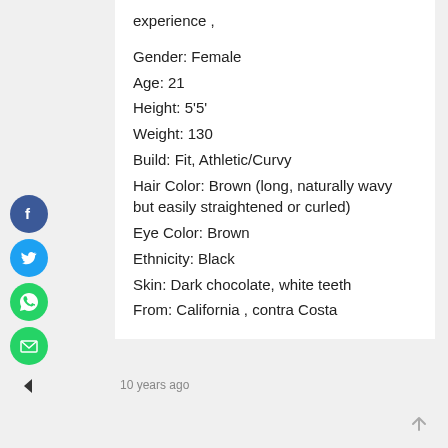experience ,
Gender: Female
Age: 21
Height: 5'5'
Weight: 130
Build: Fit, Athletic/Curvy
Hair Color: Brown (long, naturally wavy but easily straightened or curled)
Eye Color: Brown
Ethnicity: Black
Skin: Dark chocolate, white teeth
From: California , contra Costa
10 years ago